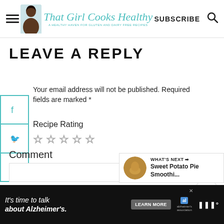That Girl Cooks Healthy — SUBSCRIBE
LEAVE A REPLY
Your email address will not be published. Required fields are marked *
Recipe Rating
[Figure (other): Five empty star rating icons]
Comment
[Figure (other): Comment text area input box]
[Figure (other): WHAT'S NEXT panel with Sweet Potato Pie Smoothi... thumbnail]
[Figure (other): Advertisement banner: It's time to talk about Alzheimer's. LEARN MORE. Alzheimer's association logo.]